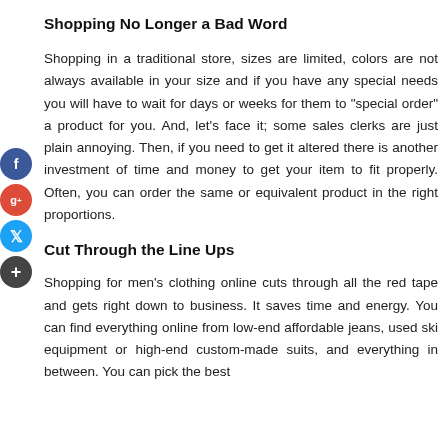Shopping No Longer a Bad Word
Shopping in a traditional store, sizes are limited, colors are not always available in your size and if you have any special needs you will have to wait for days or weeks for them to "special order" a product for you. And, let's face it; some sales clerks are just plain annoying. Then, if you need to get it altered there is another investment of time and money to get your item to fit properly. Often, you can order the same or equivalent product in the right proportions.
Cut Through the Line Ups
Shopping for men's clothing online cuts through all the red tape and gets right down to business. It saves time and energy. You can find everything online from low-end affordable jeans, used ski equipment or high-end custom-made suits, and everything in between. You can pick the best